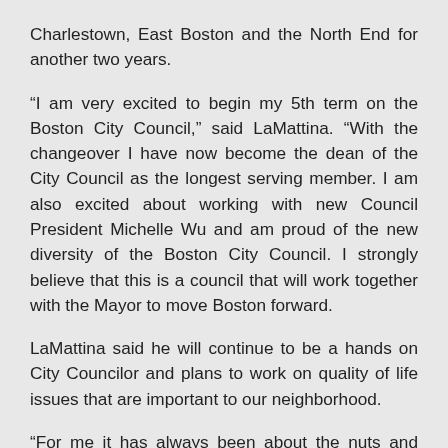Charlestown, East Boston and the North End for another two years.
“I am very excited to begin my 5th term on the Boston City Council,” said LaMattina. “With the changeover I have now become the dean of the City Council as the longest serving member. I am also excited about working with new Council President Michelle Wu and am proud of the new diversity of the Boston City Council. I strongly believe that this is a council that will work together with the Mayor to move Boston forward.
LaMattina said he will continue to be a hands on City Councilor and plans to work on quality of life issues that are important to our neighborhood.
“For me it has always been about the nuts and bolts